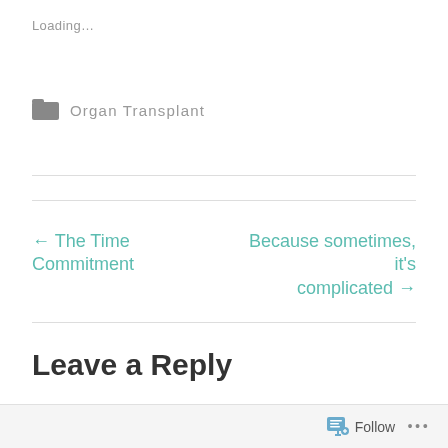Loading...
Organ Transplant
← The Time Commitment
Because sometimes, it's complicated →
Leave a Reply
Follow ...